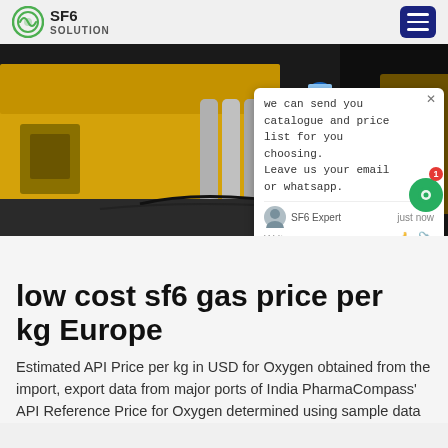SF6 SOLUTION
[Figure (photo): Industrial scene with yellow trucks and gas cylinders; worker in blue coveralls and helmet; chat overlay popup visible]
low cost sf6 gas price per kg Europe
Estimated API Price per kg in USD for Oxygen obtained from the import, export data from major ports of India PharmaCompass' API Reference Price for Oxygen determined using sample data